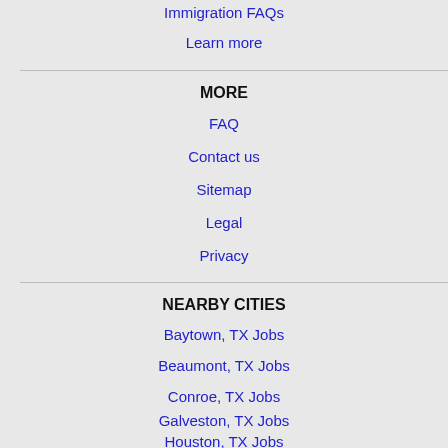Immigration FAQs
Learn more
MORE
FAQ
Contact us
Sitemap
Legal
Privacy
NEARBY CITIES
Baytown, TX Jobs
Beaumont, TX Jobs
Conroe, TX Jobs
Galveston, TX Jobs
Houston, TX Jobs